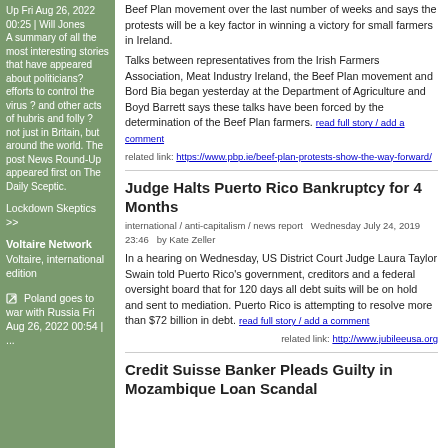Up Fri Aug 26, 2022 00:25 | Will Jones
A summary of all the most interesting stories that have appeared about politicians? efforts to control the virus ? and other acts of hubris and folly ? not just in Britain, but around the world. The post News Round-Up appeared first on The Daily Sceptic.
Lockdown Skeptics >>
Voltaire Network
Voltaire, international edition
Poland goes to war with Russia Fri Aug 26, 2022 00:54 | ...
Beef Plan movement over the last number of weeks and says the protests will be a key factor in winning a victory for small farmers in Ireland.

Talks between representatives from the Irish Farmers Association, Meat Industry Ireland, the Beef Plan movement and Bord Bia began yesterday at the Department of Agriculture and Boyd Barrett says these talks have been forced by the determination of the Beef Plan farmers.
read full story / add a comment
related link: https://www.pbp.ie/beef-plan-protests-show-the-way-forward/
Judge Halts Puerto Rico Bankruptcy for 4 Months
international / anti-capitalism / news report  Wednesday July 24, 2019 23:46  by Kate Zeller
In a hearing on Wednesday, US District Court Judge Laura Taylor Swain told Puerto Rico's government, creditors and a federal oversight board that for 120 days all debt suits will be on hold and sent to mediation. Puerto Rico is attempting to resolve more than $72 billion in debt.
read full story / add a comment
related link: http://www.jubileeusa.org
Credit Suisse Banker Pleads Guilty in Mozambique Loan Scandal